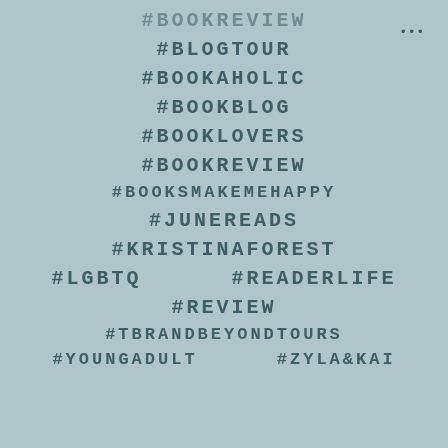[Figure (infographic): Social media post with a muted teal/sage green background listing book-related hashtags in bold monospace uppercase text, with a three-dot menu icon in the top right corner.]
#BOOKREVIEW (partially visible at top)
#BLOGTOUR
#BOOKAHOLIC
#BOOKBLOG
#BOOKLOVERS
#BOOKREVIEW
#BOOKSMAKEMEHAPPY
#JUNEREADS
#KRISTINAFOREST
#LGBTQ    #READERLIFE
#REVIEW
#TBRANDBEYONDTOURS
#YOUNGADULT    #ZYLA&KAI